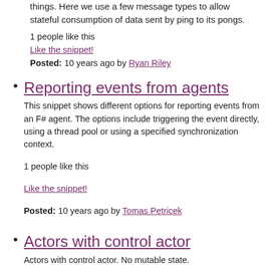things. Here we use a few message types to allow stateful consumption of data sent by ping to its pongs.
1 people like this
Like the snippet!
Posted: 10 years ago by Ryan Riley
Reporting events from agents
This snippet shows different options for reporting events from an F# agent. The options include triggering the event directly, using a thread pool or using a specified synchronization context.
1 people like this
Like the snippet!
Posted: 10 years ago by Tomas Petricek
Actors with control actor
Actors with control actor. No mutable state.
2 people like this
Like the snippet!
Posted: 8 years ago by Tuomas Hietanen